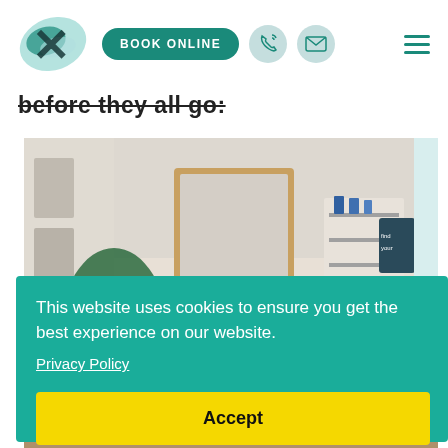[Figure (logo): X logo with teal/blue brush stroke background]
BOOK ONLINE
[Figure (illustration): Phone/call icon in light teal circle]
[Figure (illustration): Envelope/email icon in light teal circle]
[Figure (illustration): Hamburger menu icon (three teal lines)]
before they all go:
[Figure (photo): Interior of a clinic/wellness studio with plants, mirror, shelves and treatment area]
This website uses cookies to ensure you get the best experience on our website.
Privacy Policy
Accept